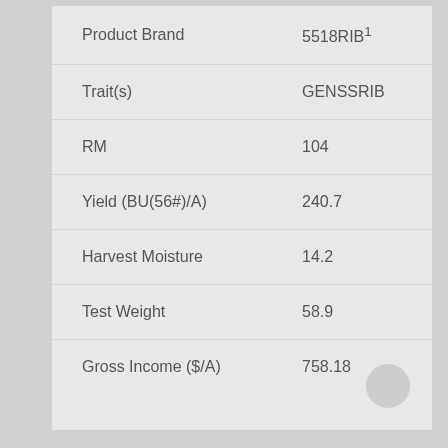| Field | Value |
| --- | --- |
| Product Brand | 5518RIB¹ |
| Trait(s) | GENSSRIB |
| RM | 104 |
| Yield (BU(56#)/A) | 240.7 |
| Harvest Moisture | 14.2 |
| Test Weight | 58.9 |
| Gross Income ($/A) | 758.18 |